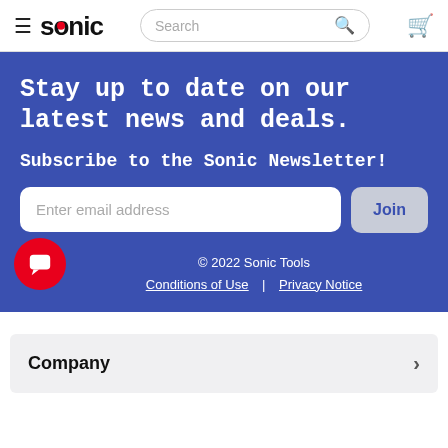≡ SONIC | Search | Cart
Stay up to date on our latest news and deals.
Subscribe to the Sonic Newsletter!
Enter email address | Join
© 2022 Sonic Tools | Conditions of Use | Privacy Notice
Company >